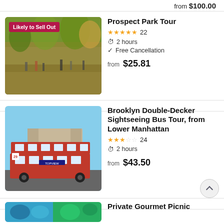from $100.00
[Figure (photo): People walking in Prospect Park with autumn trees, a dog visible in the foreground. Badge overlay: 'Likely to Sell Out']
Prospect Park Tour
★★★★★ 22
2 hours
Free Cancellation
from $25.81
[Figure (photo): Red TopView double-decker sightseeing bus in front of the Grand Army Plaza arch in Brooklyn on a sunny day]
Brooklyn Double-Decker Sightseeing Bus Tour, from Lower Manhattan
★★★☆☆ 24
2 hours
from $43.50
[Figure (photo): Partial image of food/picnic items in blue and green]
Private Gourmet Picnic